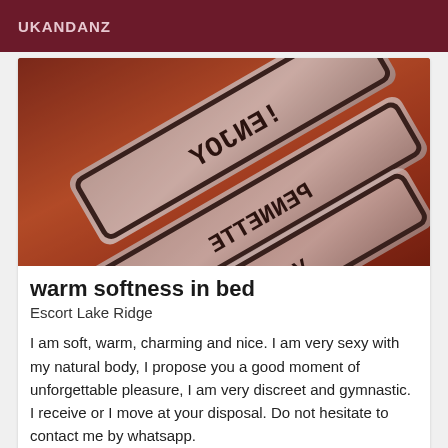UKANDANZ
[Figure (photo): Close-up photo of shiny reflective license plate or embossed metal tags with text visible in mirror/reverse, warm reddish-brown tones]
warm softness in bed
Escort Lake Ridge
I am soft, warm, charming and nice. I am very sexy with my natural body, I propose you a good moment of unforgettable pleasure, I am very discreet and gymnastic. I receive or I move at your disposal. Do not hesitate to contact me by whatsapp.
VIP